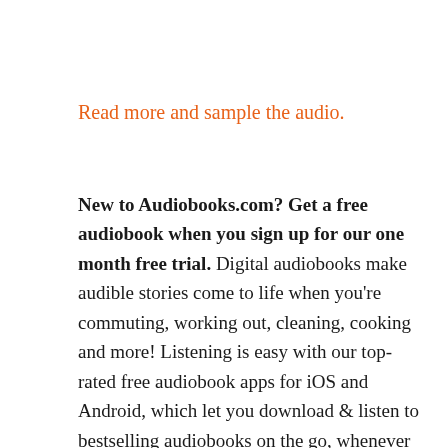Read more and sample the audio.
New to Audiobooks.com? Get a free audiobook when you sign up for our one month free trial. Digital audiobooks make audible stories come to life when you're commuting, working out, cleaning, cooking and more! Listening is easy with our top-rated free audiobook apps for iOS and Android, which let you download & listen to bestselling audiobooks on the go, whenever you are. Click here to get your